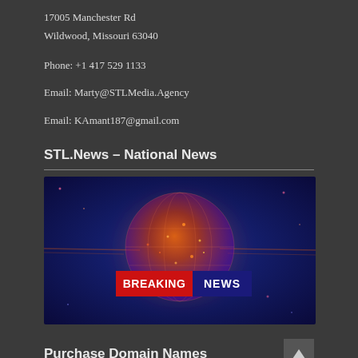17005 Manchester Rd
Wildwood, Missouri 63040
Phone: +1 417 529 1133
Email: Marty@STLMedia.Agency
Email: KAmant187@gmail.com
STL.News – National News
[Figure (illustration): Breaking News graphic with glowing orange globe on dark blue background, with 'BREAKING NEWS' text in red and dark blue banner overlay]
Purchase Domain Names